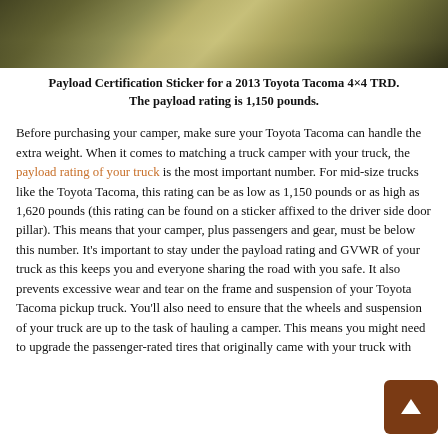[Figure (photo): Close-up photo of a metallic surface, likely the underside or frame of a truck, with golden/olive tones and dark edges.]
Payload Certification Sticker for a 2013 Toyota Tacoma 4×4 TRD. The payload rating is 1,150 pounds.
Before purchasing your camper, make sure your Toyota Tacoma can handle the extra weight. When it comes to matching a truck camper with your truck, the payload rating of your truck is the most important number. For mid-size trucks like the Toyota Tacoma, this rating can be as low as 1,150 pounds or as high as 1,620 pounds (this rating can be found on a sticker affixed to the driver side door pillar). This means that your camper, plus passengers and gear, must be below this number. It's important to stay under the payload rating and GVWR of your truck as this keeps you and everyone sharing the road with you safe. It also prevents excessive wear and tear on the frame and suspension of your Toyota Tacoma pickup truck. You'll also need to ensure that the wheels and suspension of your truck are up to the task of hauling a camper. This means you might need to upgrade the passenger-rated tires that originally came with your truck with